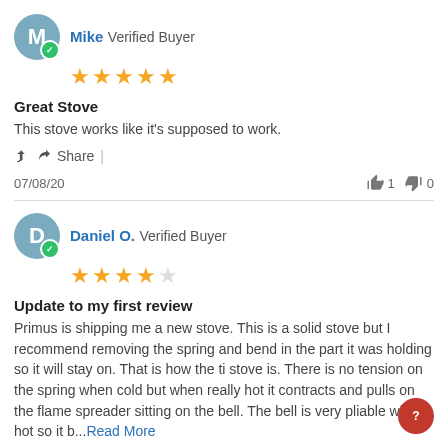Mike Verified Buyer
★★★★★ (5 stars)
Great Stove
This stove works like it's supposed to work.
Share |
07/08/20   👍 1   👎 0
Daniel O. Verified Buyer
★★★★☆ (4 stars)
Update to my first review
Primus is shipping me a new stove. This is a solid stove but I recommend removing the spring and bend in the part it was holding so it will stay on. That is how the ti stove is. There is no tension on the spring when cold but when really hot it contracts and pulls on the flame spreader sitting on the bell. The bell is very pliable when hot so it b...Read More
Share |